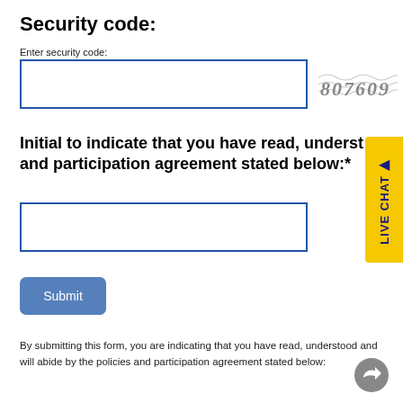Security code:
Enter security code:
[Figure (other): CAPTCHA image showing the number 807609 with wavy distortion lines]
Initial to indicate that you have read, understood and participation agreement stated below:*
Submit
By submitting this form, you are indicating that you have read, understood and will abide by the policies and participation agreement stated below: